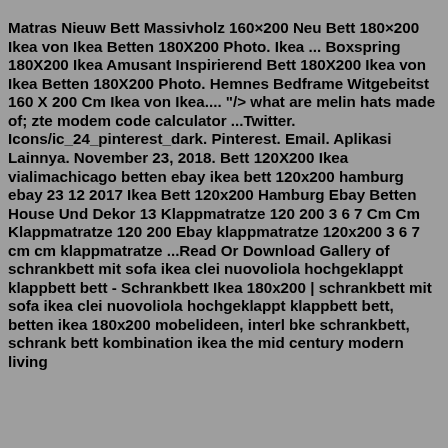Matras Nieuw Bett Massivholz 160×200 Neu Bett 180×200 Ikea von Ikea Betten 180X200 Photo. Ikea ... Boxspring 180X200 Ikea Amusant Inspirierend Bett 180X200 Ikea von Ikea Betten 180X200 Photo. Hemnes Bedframe Witgebeitst 160 X 200 Cm Ikea von Ikea.... "/> what are melin hats made of; zte modem code calculator ...Twitter. Icons/ic_24_pinterest_dark. Pinterest. Email. Aplikasi Lainnya. November 23, 2018. Bett 120X200 Ikea vialimachicago betten ebay ikea bett 120x200 hamburg ebay 23 12 2017 Ikea Bett 120x200 Hamburg Ebay Betten House Und Dekor 13 Klappmatratze 120 200 3 6 7 Cm Cm Klappmatratze 120 200 Ebay klappmatratze 120x200 3 6 7 cm cm klappmatratze ...Read Or Download Gallery of schrankbett mit sofa ikea clei nuovoliola hochgeklappt klappbett bett - Schrankbett Ikea 180x200 | schrankbett mit sofa ikea clei nuovoliola hochgeklappt klappbett bett, betten ikea 180x200 mobelideen, interl bke schrankbett, schrank bett kombination ikea the mid century modern living